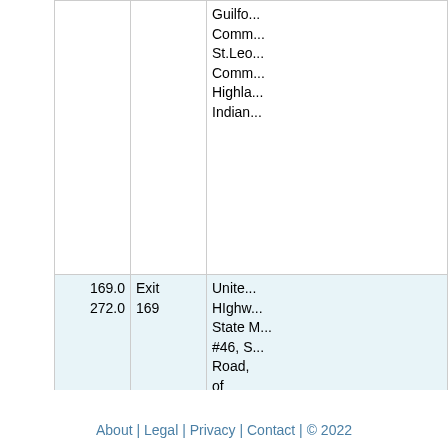| Miles | Exit | Description |
| --- | --- | --- |
|  |  | Guilfo...
Comm...
St.Leo...
Comm...
Highla...
Indian... |
| 169.0
272.0 | Exit
169 | United...
HIghw...
State ...
#46, S...
Road,
of
Brays...
Comm...
Ashby...
Sharp...
- Roc...
Indian...
Drew...
Indian...
Comm...
Brigh... |
About | Legal | Privacy | Contact | © 2022